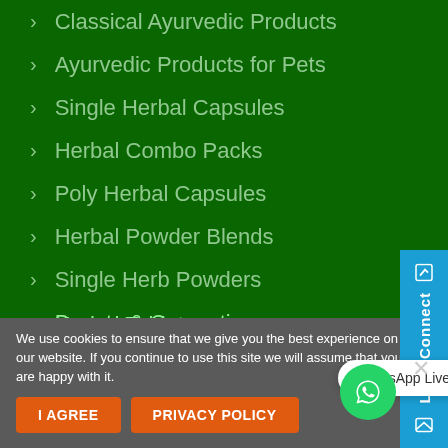> Classical Ayurvedic Products
> Ayurvedic Products for Pets
> Single Herbal Capsules
> Herbal Combo Packs
> Poly Herbal Capsules
> Herbal Powder Blends
> Single Herb Powders
> Beauty & Cosmetics
> Herbal Tablets
We use cookies to ensure that we give you the best experience on our website. If you continue to use this site we will assume that you are happy with it.
WhatsApp Live Chat with our Experts